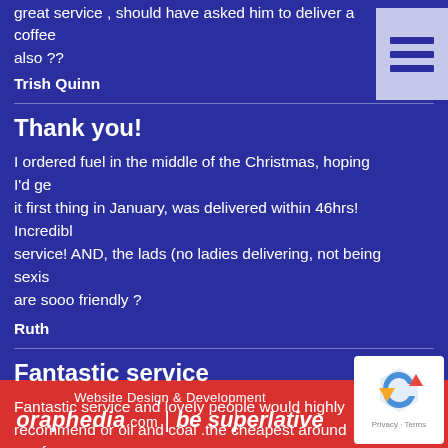great service , should have asked him to deliver a coffee also ??
Trish Quinn
Thank you!
I ordered fuel in the middle of the Christmas, hoping I'd ge it first thing in January, was delivered within 46hrs! Incredibl service! AND, the lads (no ladies delivering, not being sexis are sooo friendly ?
Ruth
Fantastic service
Fantastic service and lovely people would highly recommend or oil and coal .the cheapest around wexforc
Website Design & Development
oraphedia.com | be superlative